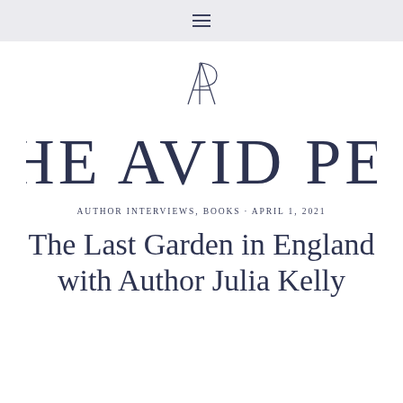≡
[Figure (logo): The Avid Pen logo — decorative AP monogram above large display text reading THE AVID PEN in a tall elegant serif typeface]
AUTHOR INTERVIEWS, BOOKS · APRIL 1, 2021
The Last Garden in England with Author Julia Kelly